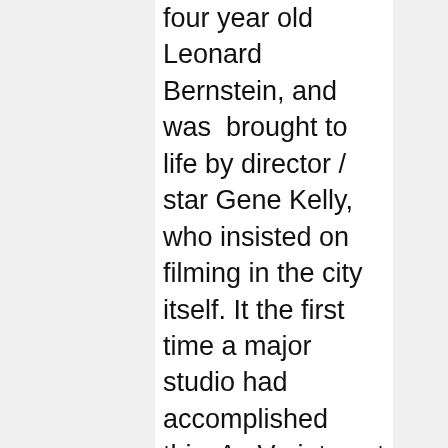four year old Leonard Bernstein, and was brought to life by director / star Gene Kelly, who insisted on filming in the city itself. It the first time a major studio had accomplished this. As Variety put it at the time, 'Picture kicks off with 'New York, New York' as a musical backing for a montage of three curious sailors prowling the city's points of interest. It gets the film off to a fascinating start and the style and pacing is continued.' From a personal point of view this was one of the first movies to bring New York City right into